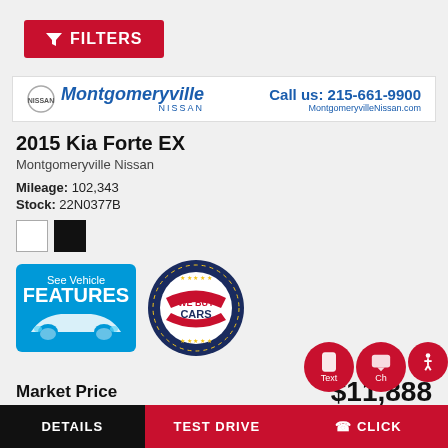[Figure (screenshot): Red FILTERS button with funnel icon at top left]
[Figure (logo): Montgomeryville Nissan dealer banner with logo, phone 215-661-9900, and website MontgomeryvilleNissan.com]
2015 Kia Forte EX
Montgomeryville Nissan
Mileage: 102,343
Stock: 22N0377B
[Figure (illustration): Two color swatches: white and black]
[Figure (infographic): See Vehicle FEATURES badge with car silhouette and WE BUY CARS stamp badge]
Market Price   $11,888
[Figure (infographic): Action buttons: DETAILS (black), TEST DRIVE (red), CLICK TO CALL (red), with floating Text and Chat circular buttons]